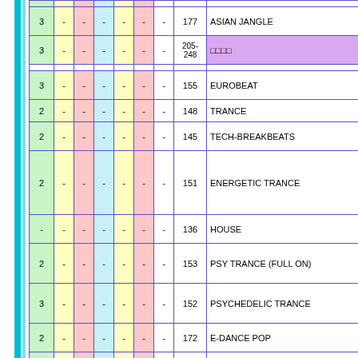| # | - | - | - | - | - | - | BPM | Genre |
| --- | --- | --- | --- | --- | --- | --- | --- | --- |
| 3 | - | - | - | - | - | - | 177 | ASIAN JANGLE |
| 3 | - | - | - | - | - | - | 205-248 | □□□□ |
| 3 | - | - | - | - | - | - | 155 | EUROBEAT |
| 2 | - | - | - | - | - | - | 148 | TRANCE |
| 2 | - | - | - | - | - | - | 145 | TECH-BREAKBEATS |
| 2 | - | - | - | - | - | - | 151 | ENERGETIC TRANCE |
| - | - | - | - | - | - | - | 136 | HOUSE |
| 2 | - | - | - | - | - | - | 153 | PSY TRANCE (FULL ON) |
| 3 | - | - | - | - | - | - | 152 | PSYCHEDELIC TRANCE |
| 2 | - | - | - | - | - | - | 172 | E-DANCE POP |
| 2 | - | - | - | - | - | - | 152 | BIG BEAT |
| 3 | - | - | - | - | - | - | 150 | TECH-PARA |